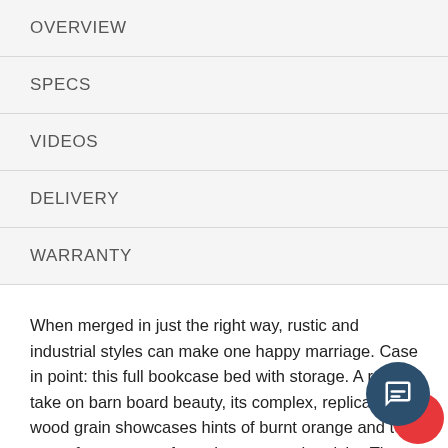OVERVIEW
SPECS
VIDEOS
DELIVERY
WARRANTY
When merged in just the right way, rustic and industrial styles can make one happy marriage. Case in point: this full bookcase bed with storage. A refined take on barn board beauty, its complex, replicated wood grain showcases hints of burnt orange and teal tones for a sense of weatherworn authenticity. Three open cubbi lined with a dimming LED light strip keep bedtime reads top of mind. Double drawers at